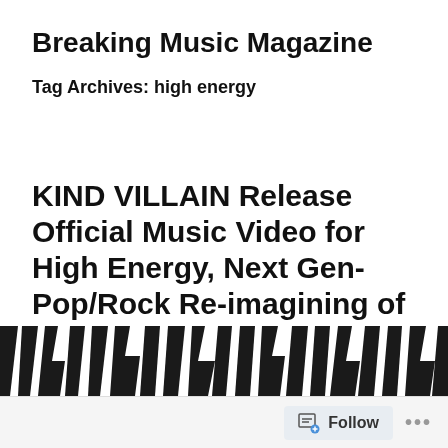Breaking Music Magazine
Tag Archives: high energy
KIND VILLAIN Release Official Music Video for High Energy, Next Gen-Pop/Rock Re-imagining of KHALID'S “8TEEN”!
[Figure (photo): Zebra-stripe black and white pattern image at bottom of page]
Follow